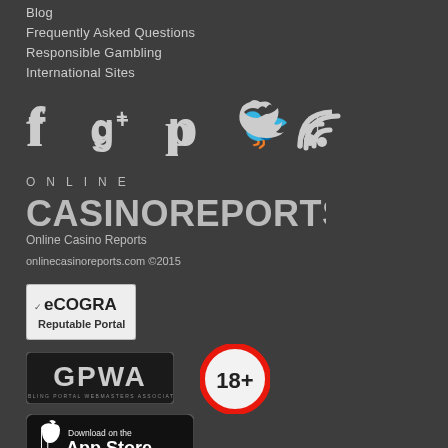Blog
Frequently Asked Questions
Responsible Gambling
International Sites
[Figure (illustration): Social media icons: Facebook, Google+, Pinterest, Twitter, RSS]
[Figure (logo): Online Casino Reports logo with text 'ONLINE CASINOREPORTS Online Casino Reports']
onlinecasinoreports.com ©2015
[Figure (logo): eCOGRA Reputable Portal badge]
[Figure (logo): GPWA Gambling Portal Webmasters Association badge]
[Figure (illustration): 18+ age restriction badge]
[Figure (illustration): Download on the App Store badge]